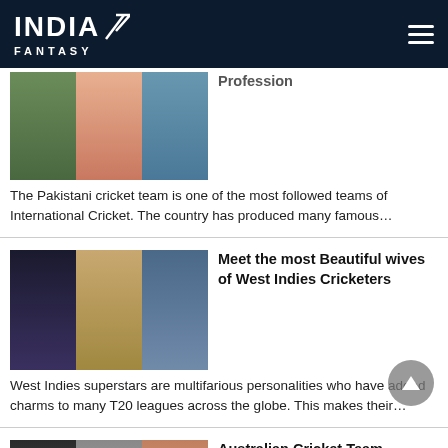India Fantasy
[Figure (photo): Three photos of women, article thumbnail]
Profession
The Pakistani cricket team is one of the most followed teams of International Cricket. The country has produced many famous…
[Figure (photo): Three photos of women, West Indies cricketers wives article thumbnail]
Meet the most Beautiful wives of West Indies Cricketers
West Indies superstars are multifarious personalities who have added charms to many T20 leagues across the globe. This makes their…
[Figure (photo): Three photos of people, Australian Cricket Team article thumbnail]
Australian Cricket Team Players' wives and